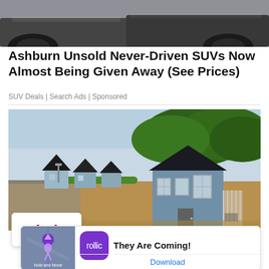[Figure (photo): Top portion of cars, showing tires and lower body panels from a low angle]
Ashburn Unsold Never-Driven SUVs Now Almost Being Given Away (See Prices)
SUV Deals | Search Ads | Sponsored
[Figure (photo): Row of small Scandinavian-style cabins/tiny homes with blue siding, white trim, dark roofs, along a path with landscaping and trees in background]
[Figure (screenshot): Ad card overlay: navigation app screenshot on left, Rollic app icon (purple) with text 'They Are Coming!' on right, with Download link at bottom. Ad badge visible top left.]